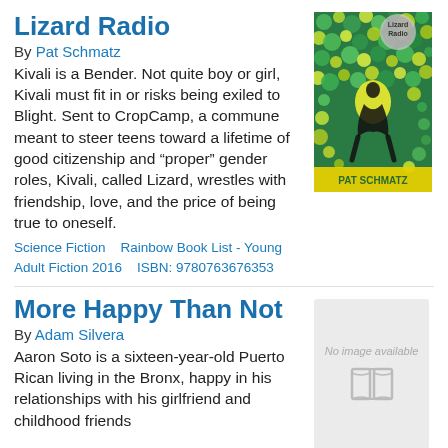Lizard Radio
By Pat Schmatz
Kivali is a Bender. Not quite boy or girl, Kivali must fit in or risks being exiled to Blight. Sent to CropCamp, a commune meant to steer teens toward a lifetime of good citizenship and “proper” gender roles, Kivali, called Lizard, wrestles with friendship, love, and the price of being true to oneself.
Science Fiction    Rainbow Book List - Young Adult Fiction 2016    ISBN: 9780763676353
[Figure (photo): Book cover of Lizard Radio by Pat Schmatz, featuring a colorful mosaic of green and yellow circles with a silhouetted figure and the author name Pat Schmatz at the bottom.]
More Happy Than Not
By Adam Silvera
Aaron Soto is a sixteen-year-old Puerto Rican living in the Bronx, happy in his relationships with his girlfriend and childhood friends
[Figure (other): No image available placeholder with a book icon.]